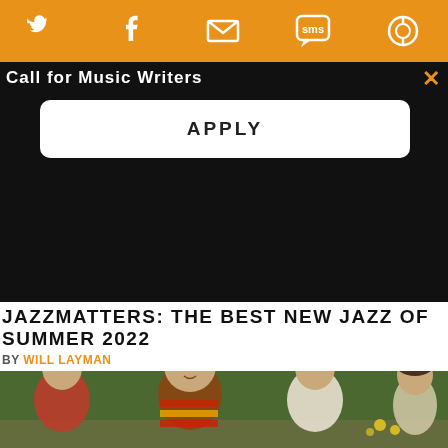Social sharing icons: Twitter, Facebook, Email, SMS, Other
Call for Music Writers
APPLY
JAZZMATTERS: THE BEST NEW JAZZ OF SUMMER 2022
BY WILL LAYMAN
[Figure (photo): Group photo of four young men with medium-length hair sitting outdoors in front of green shrubs with yellow flowers. The central figure wears a striped brown/red/yellow shirt.]